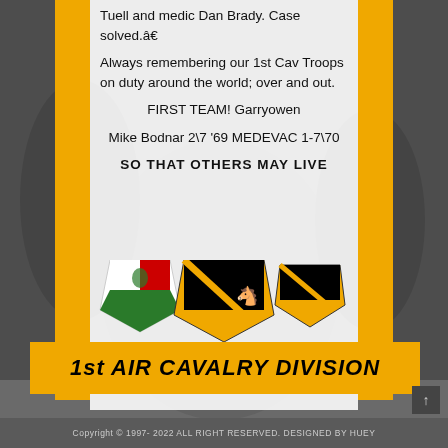Tuell and medic Dan Brady. Case solved.â¬
Always remembering our 1st Cav Troops on duty around the world; over and out.
FIRST TEAM! Garryowen
Mike Bodnar 2\7 '69 MEDEVAC 1-7\70
SO THAT OTHERS MAY LIVE
[Figure (illustration): 1st Air Cavalry Division emblem with shield badges, military badges, yellow banner ribbon with years 1965 and 1971, and text '1st AIR CAVALRY DIVISION']
Copyright © 1997-2022 ALL RIGHT RESERVED. DESIGNED BY HUEY